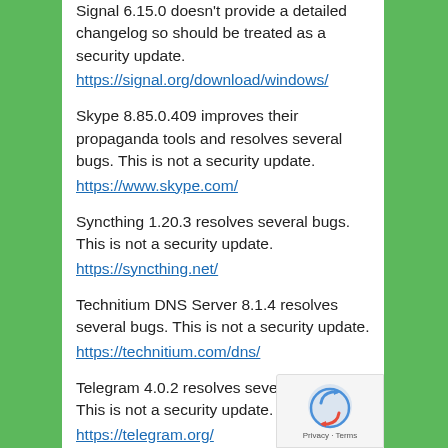Signal 6.15.0 doesn't provide a detailed changelog so should be treated as a security update.
https://signal.org/download/windows/
Skype 8.85.0.409 improves their propaganda tools and resolves several bugs. This is not a security update.
https://www.skype.com/
Syncthing 1.20.3 resolves several bugs. This is not a security update.
https://syncthing.net/
Technitium DNS Server 8.1.4 resolves several bugs. This is not a security update.
https://technitium.com/dns/
Telegram 4.0.2 resolves several bugs. This is not a security update.
https://telegram.org/
WinSCP 5.21.2 is a security update.
https://winscp.net/eng/index.php